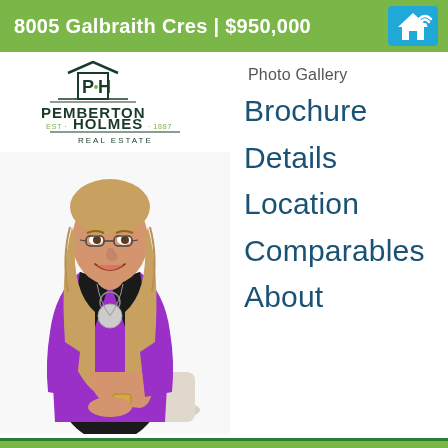8005 Galbraith Cres | $950,000
[Figure (logo): Pemberton Holmes Real Estate logo with house icon and horizontal lines]
[Figure (photo): Professional photo of a woman with blonde hair wearing a purple blazer, seated and smiling]
Photo Gallery
Brochure
Details
Location
Comparables
About